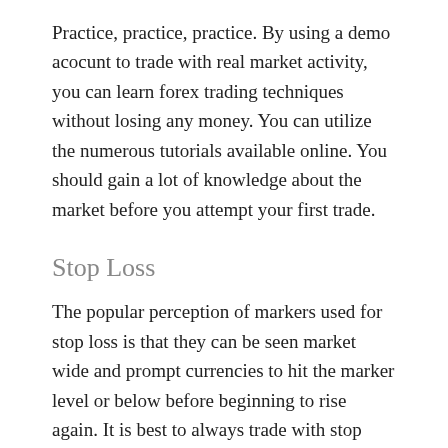Practice, practice, practice. By using a demo acocunt to trade with real market activity, you can learn forex trading techniques without losing any money. You can utilize the numerous tutorials available online. You should gain a lot of knowledge about the market before you attempt your first trade.
Stop Loss
The popular perception of markers used for stop loss is that they can be seen market wide and prompt currencies to hit the marker level or below before beginning to rise again. It is best to always trade with stop loss markers in place.
You will do better staying with your plan. Before you start trading in the currency markets, figure out what you want to achieve and what satisfies from a forex trading is it